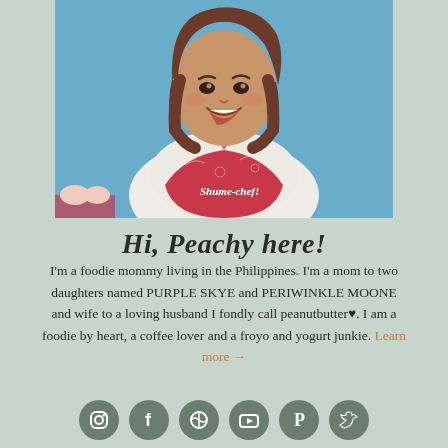[Figure (photo): Woman smiling, wearing a white blouse and red apron that reads 'Shume-chef!', photographed against a light blue background, upper body shot]
Hi, Peachy here!
I'm a foodie mommy living in the Philippines. I'm a mom to two daughters named PURPLE SKYE and PERIWINKLE MOONE and wife to a loving husband I fondly call peanutbutter♥. I am a foodie by heart, a coffee lover and a froyo and yogurt junkie. Learn more →
[Figure (infographic): Row of six circular social media icons (Instagram, Facebook, WordPress, YouTube, Pinterest, Twitter) in olive/dark green color]